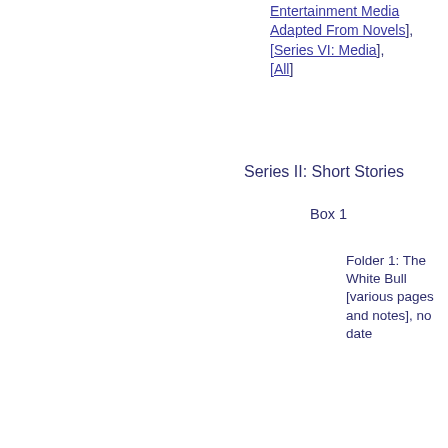Entertainment Media Adapted From Novels], [Series VI: Media], [All]
Series II: Short Stories
Box 1
Folder 1: The White Bull [various pages and notes], no date
Folder 2: The White Bull [partial draft with edits] page 1 to page 5, no date
Folder 3: The White Bull [partial draft with